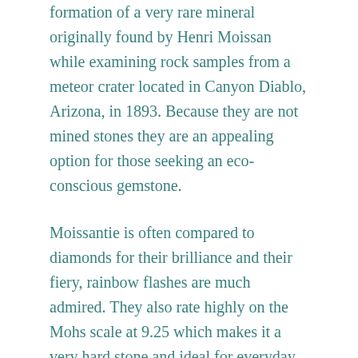formation of a very rare mineral originally found by Henri Moissan while examining rock samples from a meteor crater located in Canyon Diablo, Arizona, in 1893. Because they are not mined stones they are an appealing option for those seeking an eco-conscious gemstone.
Moissantie is often compared to diamonds for their brilliance and their fiery, rainbow flashes are much admired. They also rate highly on the Mohs scale at 9.25 which makes it a very hard stone and ideal for everyday wear.
The Moissanite Solitaire Twig Ring can be made in yellow, white or rose gold.
Made from:
9ct Gold and Moissanite.